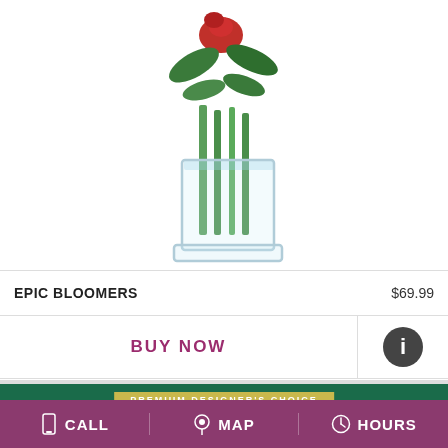[Figure (photo): Flower arrangement in a clear glass vase with red flowers and green leaves]
EPIC BLOOMERS    $69.99
BUY NOW
[Figure (illustration): Info icon - dark circle with white letter i]
[Figure (photo): Boss's Day Premium Designer's Choice floral arrangement on dark green background with yellow-green chrysanthemums]
CALL
MAP
HOURS